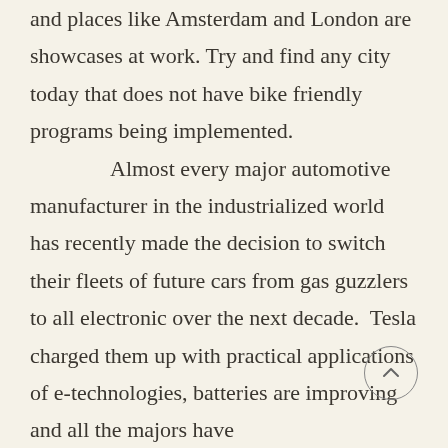and places like Amsterdam and London are showcases at work. Try and find any city today that does not have bike friendly programs being implemented. Almost every major automotive manufacturer in the industrialized world has recently made the decision to switch their fleets of future cars from gas guzzlers to all electronic over the next decade.  Tesla charged them up with practical applications of e-technologies, batteries are improving and all the majors have